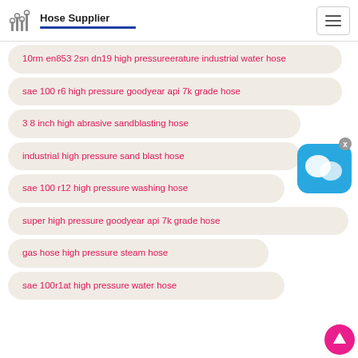Hose Supplier
10rm en853 2sn dn19 high pressureerature industrial water hose
sae 100 r6 high pressure goodyear api 7k grade hose
3 8 inch high abrasive sandblasting hose
industrial high pressure sand blast hose
sae 100 r12 high pressure washing hose
super high pressure goodyear api 7k grade hose
gas hose high pressure steam hose
sae 100r1at high pressure water hose